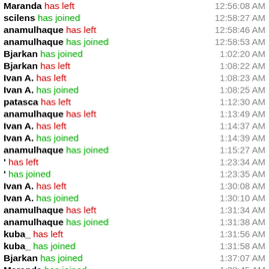Maranda has left 12:56:08 AM
scilens has joined 12:58:27 AM
anamulhaque has left 12:58:46 AM
anamulhaque has joined 12:58:53 AM
Bjarkan has joined 1:02:20 AM
Bjarkan has left 1:08:22 AM
Ivan A. has left 1:08:23 AM
Ivan A. has joined 1:08:25 AM
patasca has left 1:12:30 AM
anamulhaque has left 1:13:49 AM
Ivan A. has left 1:14:37 AM
Ivan A. has joined 1:14:39 AM
anamulhaque has joined 1:15:27 AM
' has left 1:23:34 AM
' has joined 1:23:35 AM
Ivan A. has left 1:30:08 AM
Ivan A. has joined 1:30:10 AM
anamulhaque has left 1:31:34 AM
anamulhaque has joined 1:31:38 AM
kuba_ has left 1:31:56 AM
kuba_ has joined 1:31:58 AM
Bjarkan has joined 1:37:07 AM
Maranda has joined 1:38:45 AM
Mjolnir Archon has joined 1:38:59 AM
kuba_ has left 1:39:19 AM
kuba_ has joined ...